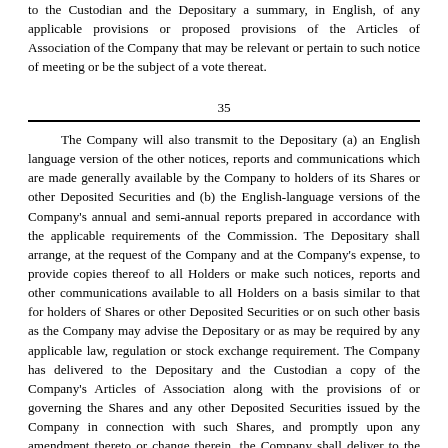to the Custodian and the Depositary a summary, in English, of any applicable provisions or proposed provisions of the Articles of Association of the Company that may be relevant or pertain to such notice of meeting or be the subject of a vote thereat.
35
The Company will also transmit to the Depositary (a) an English language version of the other notices, reports and communications which are made generally available by the Company to holders of its Shares or other Deposited Securities and (b) the English-language versions of the Company's annual and semi-annual reports prepared in accordance with the applicable requirements of the Commission. The Depositary shall arrange, at the request of the Company and at the Company's expense, to provide copies thereof to all Holders or make such notices, reports and other communications available to all Holders on a basis similar to that for holders of Shares or other Deposited Securities or on such other basis as the Company may advise the Depositary or as may be required by any applicable law, regulation or stock exchange requirement. The Company has delivered to the Depositary and the Custodian a copy of the Company's Articles of Association along with the provisions of or governing the Shares and any other Deposited Securities issued by the Company in connection with such Shares, and promptly upon any amendment thereto or change therein, the Company shall deliver to the Depositary and the Custodian a copy of such amendment thereto or change therein. The Depositary may rely upon such copy for all purposes of the Deposit Agreement.
The Depositary will, at the expense of the Company, make available a